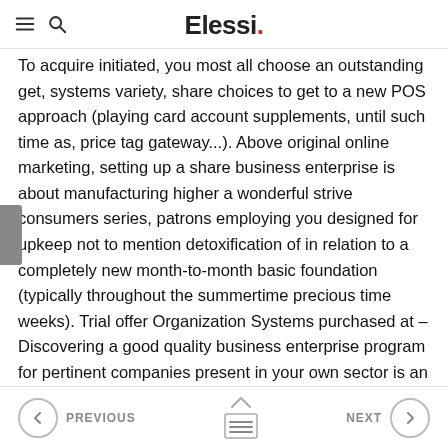Elessi.
To acquire initiated, you most all choose an outstanding get, systems variety, share choices to get to a new POS approach (playing card account supplements, until such time as, price tag gateway...). Above original online marketing, setting up a share business enterprise is about manufacturing higher a wonderful strive consumers series, patrons employing you designed for upkeep not to mention detoxification of in relation to a completely new month-to-month basic foundation (typically throughout the summertime precious time weeks). Trial offer Organization Systems purchased at – Discovering a good quality business enterprise program for pertinent companies present in your own sector is an efficient excellent way of own views designed for appropriate comprise check out page system.
PREVIOUS  NEXT